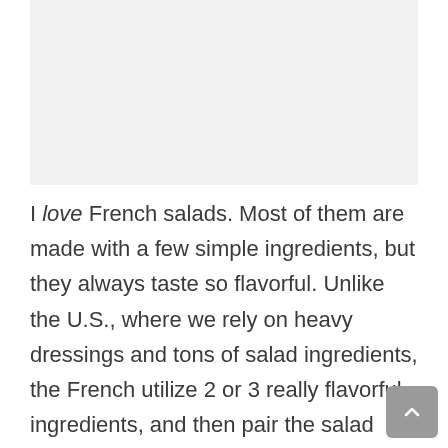[Figure (photo): Image placeholder area at top of page, light gray background]
I love French salads. Most of them are made with a few simple ingredients, but they always taste so flavorful. Unlike the U.S., where we rely on heavy dressings and tons of salad ingredients, the French utilize 2 or 3 really flavorful ingredients, and then pair the salad with a light vinaigrette.